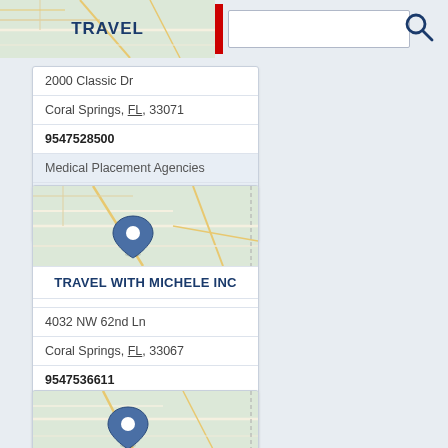[Figure (screenshot): Top bar with map background on left showing TRAVEL label with red vertical bar, search input box, and search icon on right]
2000 Classic Dr
Coral Springs, FL, 33071
9547528500
Medical Placement Agencies
Travel Agencies
Travel Agents
[Figure (map): Street map with location pin marker]
TRAVEL WITH MICHELE INC
4032 NW 62nd Ln
Coral Springs, FL, 33067
9547536611
Medical Placement Agencies
Travel Agencies
Travel Agents
[Figure (map): Street map partial view at bottom with location pin visible]